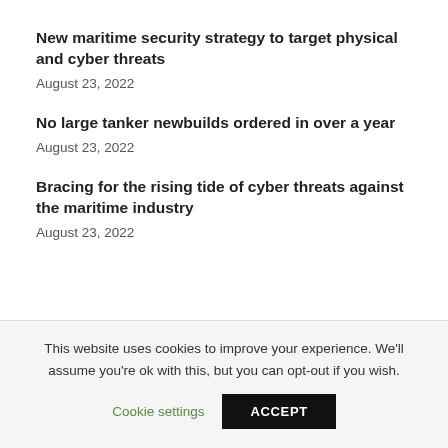New maritime security strategy to target physical and cyber threats
August 23, 2022
No large tanker newbuilds ordered in over a year
August 23, 2022
Bracing for the rising tide of cyber threats against the maritime industry
August 23, 2022
This website uses cookies to improve your experience. We'll assume you're ok with this, but you can opt-out if you wish.
Cookie settings
ACCEPT